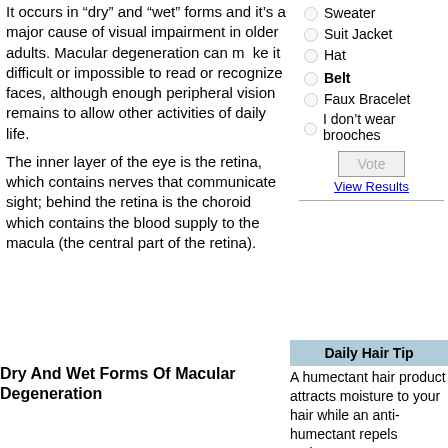It occurs in “dry” and “wet” forms and it’s a major cause of visual impairment in older adults. Macular degeneration can make it difficult or impossible to read or recognize faces, although enough peripheral vision remains to allow other activities of daily life.
Sweater
Suit Jacket
Hat
Belt
Faux Bracelet
I don’t wear brooches
Vote
View Results
The inner layer of the eye is the retina, which contains nerves that communicate sight; behind the retina is the choroid  which contains the blood supply to the macula (the central part of the retina).
Dry And Wet Forms Of Macular Degeneration
Daily Hair Tip
A humectant hair product attracts moisture to your hair while an anti-humectant repels moisture. Use a humectant to combat static electricity and